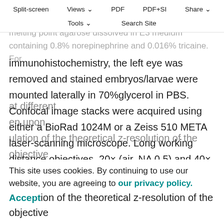Larvae were embedded in a 0.5×20 mm imaging chamber (CoverWell, Grace bio-labs) in 1.2% low melting point agarose dissolved in E3 medium containing 0.8% norepinephrine and 0.016% tricaine. For
Split-screen  Views  PDF  PDF+SI  Share  Tools  Search Site
immunohistochemistry, the left eye was removed and stained embryos/larvae were mounted laterally in 70%glycerol in PBS. Confocal image stacks were acquired using either a BioRad 1024M or a Zeiss 510 META laser-scanning microscope. Long working distance objectives, 20× (air, NA 0.5) and 40× (water, NA 0.8), were used. To reconstruct axons and their arbors, a series of optical planes were collected (z-stack) and collapsed into a single image (maximum intensity projection) or rendered in three
at different
en upon
ulation of the theoretical z-resolution of the objective
This site uses cookies. By continuing to use our website, you are agreeing to our privacy policy. Accept